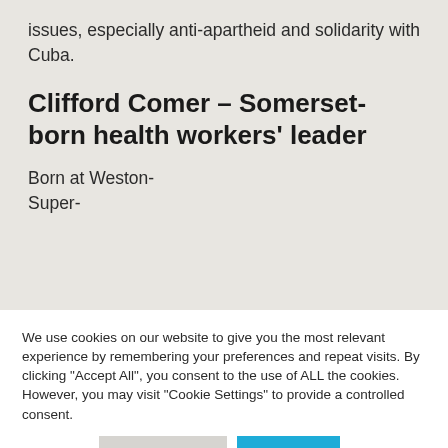issues, especially anti-apartheid and solidarity with Cuba.
Clifford Comer – Somerset-born health workers' leader
Born at Weston-
Super-
We use cookies on our website to give you the most relevant experience by remembering your preferences and repeat visits. By clicking "Accept All", you consent to the use of ALL the cookies. However, you may visit "Cookie Settings" to provide a controlled consent.
Read more | Cookie settings | Accept all